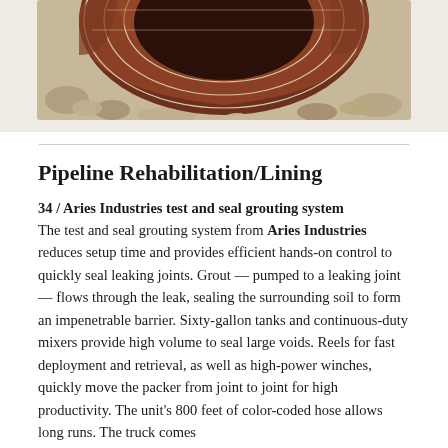[Figure (photo): Partial view of a circular brick structure photographed from above, showing aged red and brown bricks with mortar joints, surrounded by rocky/gravelly ground.]
Pipeline Rehabilitation/Lining
34 / Aries Industries test and seal grouting system The test and seal grouting system from Aries Industries reduces setup time and provides efficient hands-on control to quickly seal leaking joints. Grout — pumped to a leaking joint — flows through the leak, sealing the surrounding soil to form an impenetrable barrier. Sixty-gallon tanks and continuous-duty mixers provide high volume to seal large voids. Reels for fast deployment and retrieval, as well as high-power winches, quickly move the packer from joint to joint for high productivity. The unit's 800 feet of color-coded hose allows long runs. The truck comes